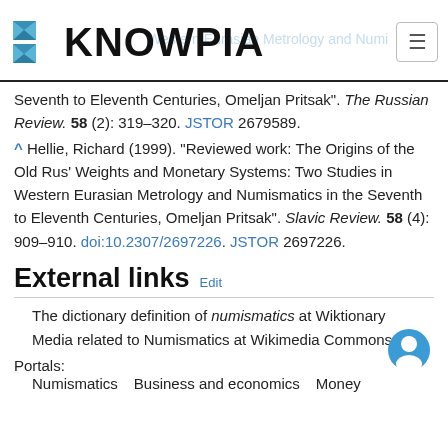KNOWPIA
Seventh to Eleventh Centuries, Omeljan Pritsak". The Russian Review. 58 (2): 319–320. JSTOR 2679589.
^ Hellie, Richard (1999). "Reviewed work: The Origins of the Old Rus' Weights and Monetary Systems: Two Studies in Western Eurasian Metrology and Numismatics in the Seventh to Eleventh Centuries, Omeljan Pritsak". Slavic Review. 58 (4): 909–910. doi:10.2307/2697226. JSTOR 2697226.
External links Edit
The dictionary definition of numismatics at Wiktionary
Media related to Numismatics at Wikimedia Commons
Portals:
Numismatics  Business and economics  Money